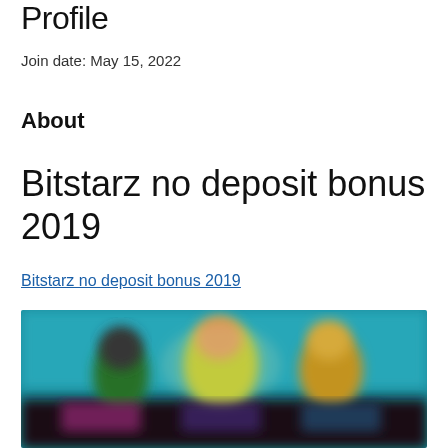Profile
Join date: May 15, 2022
About
Bitstarz no deposit bonus 2019
Bitstarz no deposit bonus 2019
[Figure (photo): Blurred screenshot of a casino or gaming website with cartoon/animated characters on a colorful background]